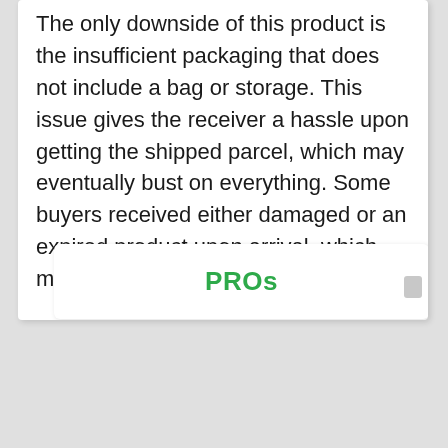The only downside of this product is the insufficient packaging that does not include a bag or storage. This issue gives the receiver a hassle upon getting the shipped parcel, which may eventually bust on everything. Some buyers received either damaged or an expired product upon arrival, which makes customers unsatisfied.
PROs